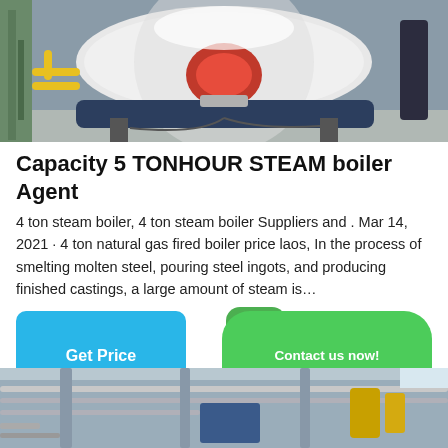[Figure (photo): Industrial steam boiler in a factory setting, showing a large horizontal cylindrical boiler with red burner assembly, yellow gas pipes, and various equipment in an industrial hall.]
Capacity 5 TONHOUR STEAM boiler Agent
4 ton steam boiler, 4 ton steam boiler Suppliers and . Mar 14, 2021 · 4 ton natural gas fired boiler price laos, In the process of smelting molten steel, pouring steel ingots, and producing finished castings, a large amount of steam is…
[Figure (other): Get Price button (blue rounded rectangle), WhatsApp icon (green circle with phone handset), and Contact us now! button (green rounded rectangle)]
[Figure (photo): Partial view of industrial piping and equipment in a factory, showing metal pipes, structural columns, and yellow equipment.]